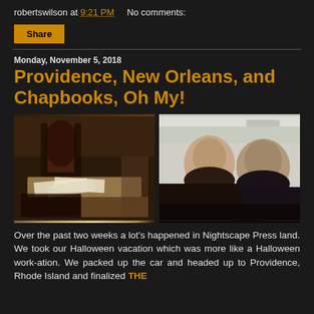robertswilson at 9:21 PM   No comments:
Share
Monday, November 5, 2018
Providence, New Orleans, and Chapbooks, Oh My!
[Figure (photo): Two side-by-side photos: left shows a desk with books, papers and chapbooks spread out; right shows two bearded men smiling for a selfie in what appears to be a store or office.]
Over the past two weeks a lot's happened in Nightscape Press land. We took our Halloween vacation which was more like a Halloween work-ation. We packed up the car and headed up to Providence, Rhode Island and finalized THE